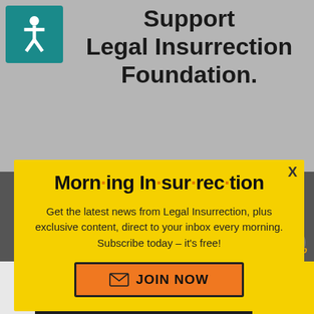[Figure (screenshot): Background of a website showing 'Support Legal Insurrection Foundation' heading with accessibility icon, a dark bottom section with 'OUR LATEST' text, a close X button, 'Back to top' link, and a bottom banner reading 'THE PERSPECTIVE - SEE WHAT YOU'RE MISSING' with 'READ MORE' button.]
[Figure (screenshot): Yellow modal popup for 'Morning Insurrection' newsletter subscription with orange dots between letters, descriptive text, and a 'JOIN NOW' button with envelope icon. Has an X close button in top right.]